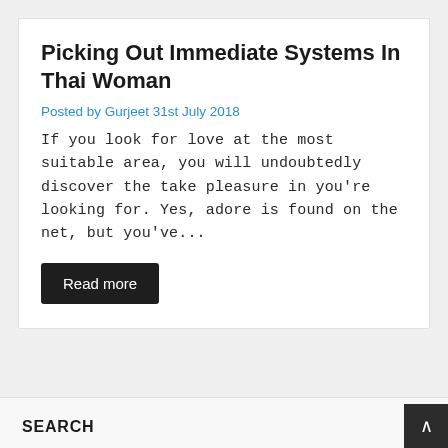Picking Out Immediate Systems In Thai Woman
Posted by Gurjeet 31st July 2018
If you look for love at the most suitable area, you will undoubtedly discover the take pleasure in you're looking for. Yes, adore is found on the net, but you've...
Read more
SEARCH
Search ...